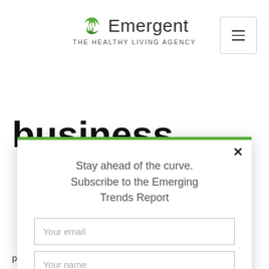[Figure (logo): Emergent — The Healthy Living Agency logo with green circular icon and hamburger menu button]
business
[Figure (screenshot): Modal popup with green top border: 'Stay ahead of the curve. Subscribe to the Emerging Trends Report' with email input, name input, Subscribe button, and captcha icon]
power of editorial (earned) media to